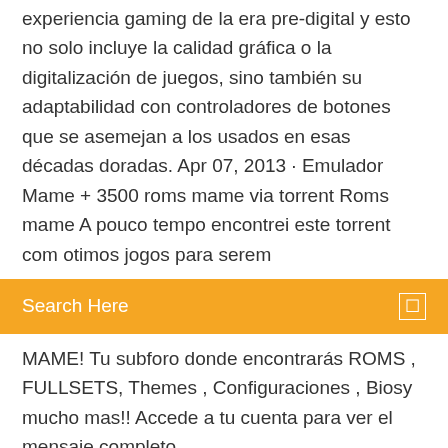experiencia gaming de la era pre-digital y esto no solo incluye la calidad gráfica o la digitalización de juegos, sino también su adaptabilidad con controladores de botones que se asemejan a los usados en esas décadas doradas. Apr 07, 2013 · Emulador Mame + 3500 roms mame via torrent Roms mame A pouco tempo encontrei este torrent com otimos jogos para serem
Search Here
MAME! Tu subforo donde encontrarás ROMS , FULLSETS, Themes , Configuraciones , Biosy mucho mas!! Accede a tu cuenta para ver el mensaje completo.
Uno de los más populares emuladores para PC del mundo acaba de ser actualizado con nuevas e importantes mejoras y compatibilidades, hablamos de MAME 0.191 9/7/2020 GB mame rom folder. Hyperspin Systems. June 0. 7, 2. 01. This is our most innovative, compact and amazing creation for the Raspberry Pi device: Hyper. Pie. Thousands of hours of